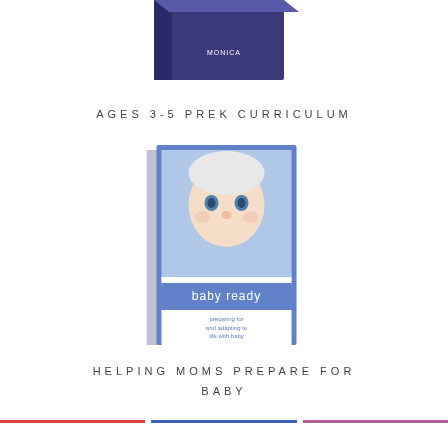[Figure (photo): Partial view of a blue book/curriculum box at the top of the page, cropped]
AGES 3-5 PREK CURRICULUM
[Figure (photo): Book cover for 'baby ready - preparing for and adapting to life with baby' by Monica Pruett, featuring a close-up photo of a baby with blue eyes wearing a white knit hat, with blue borders]
HELPING MOMS PREPARE FOR BABY
[Figure (other): Three partial card/box elements at the bottom of the page: one with red top border, one with blue top border, one with pink/mauve top border]